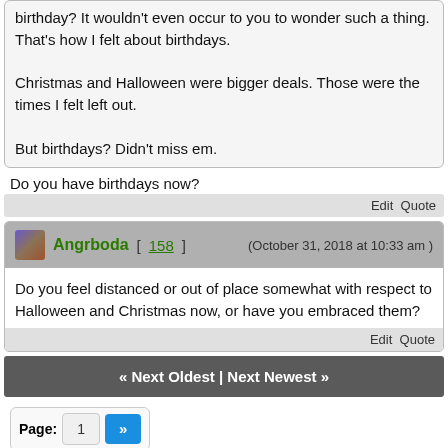birthday? It wouldn't even occur to you to wonder such a thing. That's how I felt about birthdays.

Christmas and Halloween were bigger deals. Those were the times I felt left out.

But birthdays? Didn't miss em.
Do you have birthdays now?
Edit  Quote
Angrboda [ 158 ]  (October 31, 2018 at 10:33 am )
Do you feel distanced or out of place somewhat with respect to Halloween and Christmas now, or have you embraced them?
Edit  Quote
« Next Oldest | Next Newest »
Page: 1 »
Subscribe to this thread